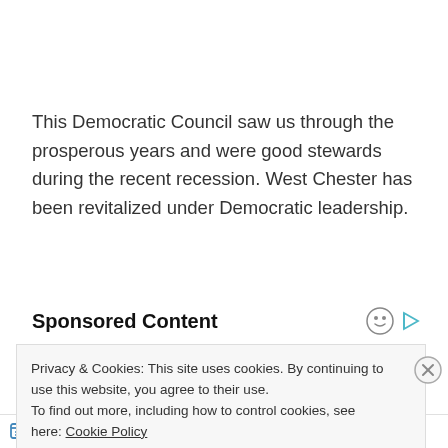This Democratic Council saw us through the prosperous years and were good stewards during the recent recession. West Chester has been revitalized under Democratic leadership.
Sponsored Content
[Figure (photo): Colorful arrangement of vegetables and produce including broccoli, corn, peppers, and other vegetables]
Privacy & Cookies: This site uses cookies. By continuing to use this website, you agree to their use.
To find out more, including how to control cookies, see here: Cookie Policy
Close and accept
Follow ...